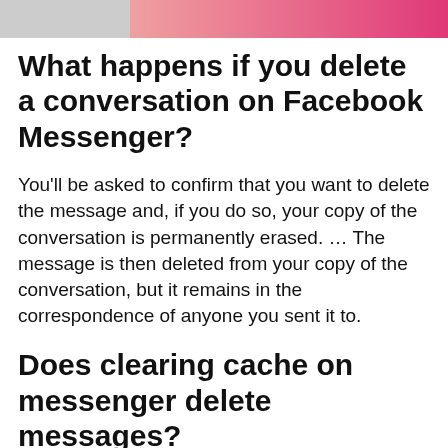[Figure (photo): Partial photo strip at top of page showing a person in a pink/red top on the right side and a lighter section on the left]
What happens if you delete a conversation on Facebook Messenger?
You'll be asked to confirm that you want to delete the message and, if you do so, your copy of the conversation is permanently erased. … The message is then deleted from your copy of the conversation, but it remains in the correspondence of anyone you sent it to.
Does clearing cache on messenger delete messages?